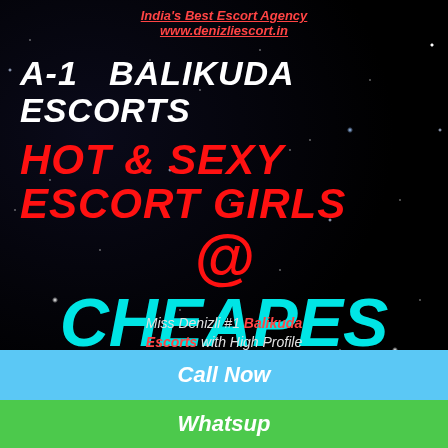India's Best Escort Agency
www.denizliescort.in
A-1  BALIKUDA ESCORTS
HOT & SEXY ESCORT GIRLS
@
CHEAPES T PRICE
Miss Denizli #1 Balikuda Escorts with High Profile
Call Now
Whatsup